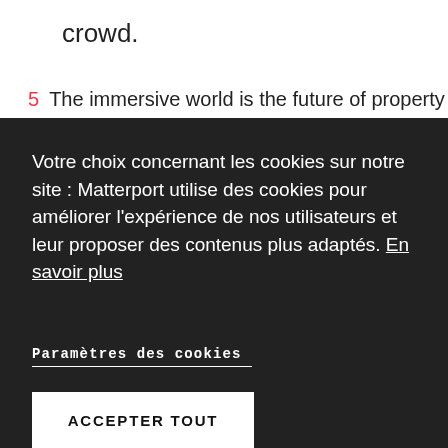crowd.
5  The immersive world is the future of property
Votre choix concernant les cookies sur notre site : Matterport utilise des cookies pour améliorer l'expérience de nos utilisateurs et leur proposer des contenus plus adaptés. En savoir plus
Paramètres des cookies
ACCEPTER TOUT